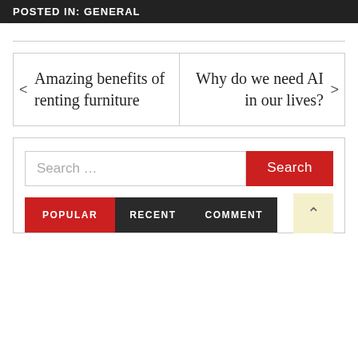POSTED IN: GENERAL
Amazing benefits of renting furniture
Why do we need AI in our lives?
Search ...
Search
POPULAR
RECENT
COMMENT